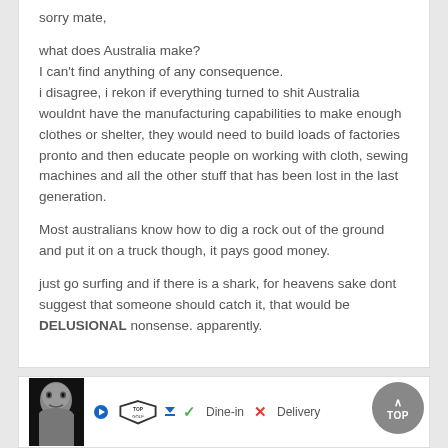sorry mate,

what does Australia make?
I can't find anything of any consequence.
i disagree, i rekon if everything turned to shit Australia wouldnt have the manufacturing capabilities to make enough clothes or shelter, they would need to build loads of factories pronto and then educate people on working with cloth, sewing machines and all the other stuff that has been lost in the last generation.

Most australians know how to dig a rock out of the ground and put it on a truck though, it pays good money.

just go surfing and if there is a shark, for heavens sake dont suggest that someone should catch it, that would be DELUSIONAL nonsense. apparently.
[Figure (other): Advertisement banner with a bald man photo, Topgolf logo with play button, dine-in and delivery options with checkmark and X, a blue navigation arrow icon, and a TOP scroll button.]